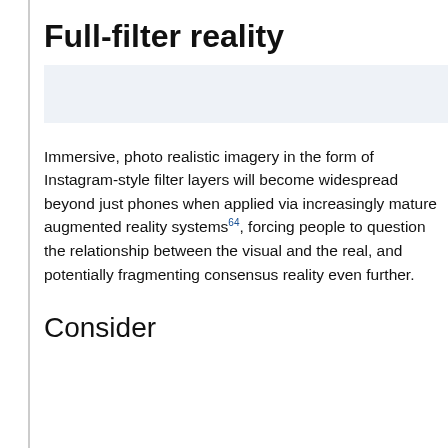Full-filter reality
[Figure (other): Light blue shaded rectangle used as a decorative/placeholder image block]
Immersive, photo realistic imagery in the form of Instagram-style filter layers will become widespread beyond just phones when applied via increasingly mature augmented reality systems⁤, forcing people to question the relationship between the visual and the real, and potentially fragmenting consensus reality even further.
Consider